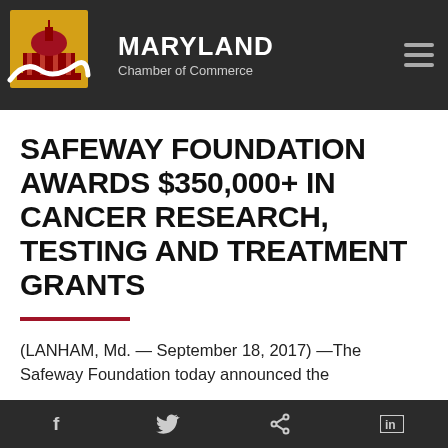MARYLAND Chamber of Commerce
SAFEWAY FOUNDATION AWARDS $350,000+ IN CANCER RESEARCH, TESTING AND TREATMENT GRANTS
(LANHAM, Md. — September 18, 2017) —The Safeway Foundation today announced the
f  Twitter  Share  in